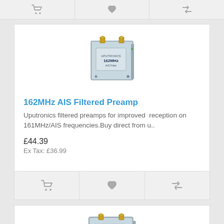[Figure (other): Top navigation/action bar with cart, wishlist, and compare icons (partially visible, cut off at top of page)]
[Figure (photo): Photo of 162MHz AIS Filtered Preamp device - a small silver metal box with gold SMA connectors on top]
162MHz AIS Filtered Preamp
Uputronics filtered preamps for improved reception on 161MHz/AIS frequencies.Buy direct from u..
£44.39
Ex Tax: £36.99
[Figure (photo): Photo of a second AIS filtered preamp product (partially visible at bottom of page, cut off)]